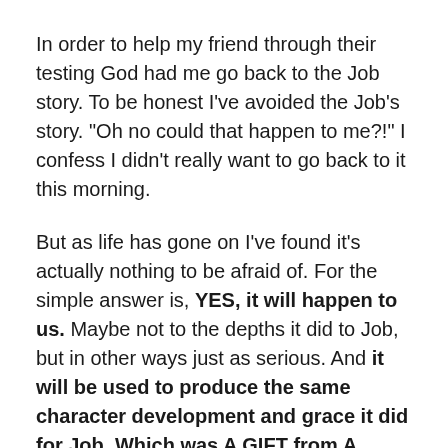In order to help my friend through their testing God had me go back to the Job story. To be honest I’ve avoided the Job’s story. “Oh no could that happen to me?!” I confess I didn’t really want to go back to it this morning.
But as life has gone on I’ve found it’s actually nothing to be afraid of. For the simple answer is, YES, it will happen to us. Maybe not to the depths it did to Job, but in other ways just as serious. And it will be used to produce the same character development and grace it did for Job. Which was A GIFT from A LOVING FATHER.
A good friend of mine likes to say that before God multiplies things He subtracts things, but the